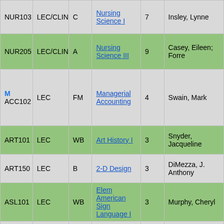| Course | Type | Section | Title | Credits | Instructor |
| --- | --- | --- | --- | --- | --- |
| NUR103 | LEC/CLIN | C | Nursing Science I | 7 | Insley, Lynne |
| NUR205 | LEC/CLIN | A | Nursing Science III | 9 | Casey, Eileen; Forre... |
| MACC102 | LEC | FM | Managerial Accounting | 4 | Swain, Mark |
| ART101 | LEC | WB | Art History I | 3 | Snyder, Jacqueline |
| ART150 | LEC | B | 2-D Design | 3 | DiMezza, J. Anthony |
| ASL101 | LEC | WB | Elem American Sign Language I | 3 | Murphy, Cheryl |
| BIO181 | LEC/LAB | A | Anatomy & Physiology I | 4 | Trespalacios, Flor |
| BIO181 | LEC/LAB | WB | Anatomy & | 4 | ... |